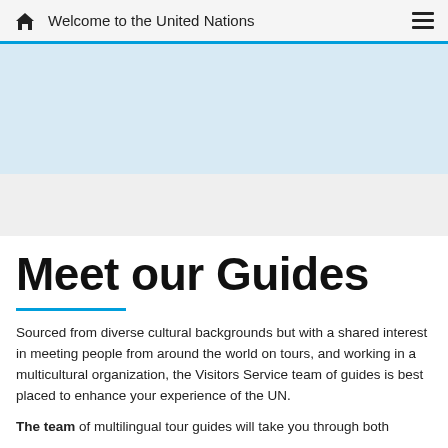Welcome to the United Nations
[Figure (photo): Hero image area showing UN-related content, light blue background placeholder]
[Figure (photo): Gray band section below hero image]
Meet our Guides
Sourced from diverse cultural backgrounds but with a shared interest in meeting people from around the world on tours, and working in a multicultural organization, the Visitors Service team of guides is best placed to enhance your experience of the UN.
The team of multilingual tour guides will take you through both